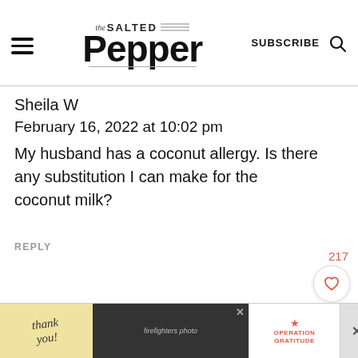[Figure (screenshot): The Salted Pepper website header with hamburger menu, logo, Subscribe button, and search icon]
Sheila W
February 16, 2022 at 10:02 pm
My husband has a coconut allergy. Is there any substitution I can make for the coconut milk?
REPLY
217
Louise
[Figure (screenshot): Advertisement banner at bottom: Thank you message with Operation Gratitude ad featuring firefighters]